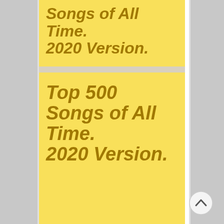Songs of All Time. 2020 Version.
Top 500 Songs of All Time. 2020 Version.